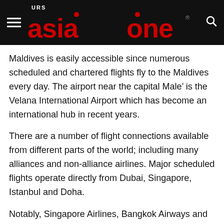URS Asia One
Maldives is easily accessible since numerous scheduled and chartered flights fly to the Maldives every day. The airport near the capital Male’ is the Velana International Airport which has become an international hub in recent years.
There are a number of flight connections available from different parts of the world; including many alliances and non-alliance airlines. Major scheduled flights operate directly from Dubai, Singapore, Istanbul and Doha.
Notably, Singapore Airlines, Bangkok Airways and Sri Lankan operate direct daily flights and many other flights operate from Middle East and Europe, while...